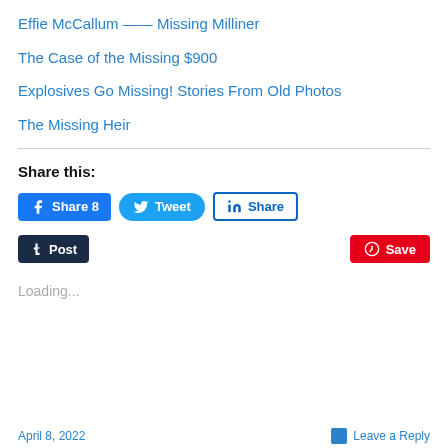Effie McCallum — Missing Milliner
The Case of the Missing $900
Explosives Go Missing! Stories From Old Photos
The Missing Heir
Share this:
[Figure (other): Social share buttons: Facebook Share 8, Tweet, LinkedIn Share, Tumblr Post, Pinterest Save]
Loading...
April 8, 2022   Leave a Reply